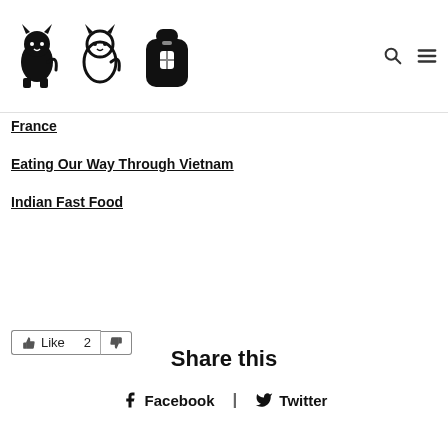[Figure (logo): Three icons: a black sitting cat, a black outline cat, and a black backpack]
France
Eating Our Way Through Vietnam
Indian Fast Food
Like | 2 | [dislike]
Share this
Facebook | Twitter